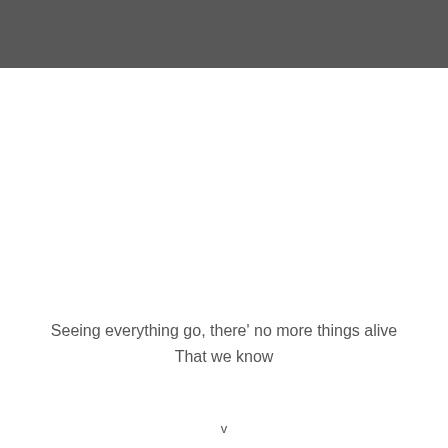[Figure (other): Dark gray header bar spanning full width of page]
Seeing everything go, there' no more things alive
That we know
v